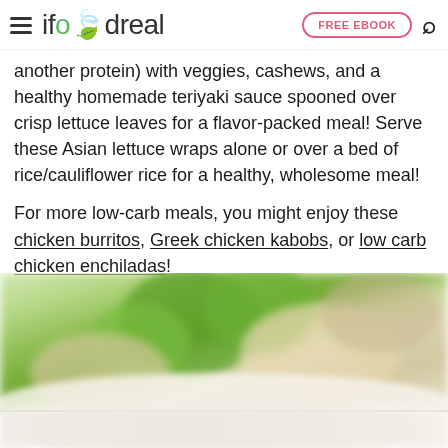ifoodreal | FREE EBOOK
another protein) with veggies, cashews, and a healthy homemade teriyaki sauce spooned over crisp lettuce leaves for a flavor-packed meal! Serve these Asian lettuce wraps alone or over a bed of rice/cauliflower rice for a healthy, wholesome meal!
For more low-carb meals, you might enjoy these chicken burritos, Greek chicken kabobs, or low carb chicken enchiladas!
[Figure (photo): Close-up blurred photo of Asian lettuce wrap filling with vegetables, cashews, and broccoli in a white bowl, and a second blurred image below]